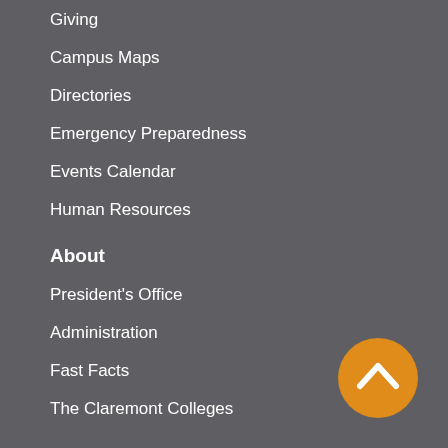Giving
Campus Maps
Directories
Emergency Preparedness
Events Calendar
Human Resources
About
President's Office
Administration
Fast Facts
The Claremont Colleges
Academics
Academic Calendar
Course Catalogs
Faculty Directory
Fellowships & Scholarships
Field Groups
Admission &
[Figure (other): Orange circular back-to-top button with upward chevron arrow]